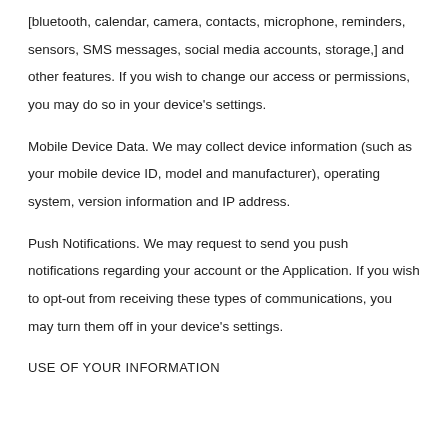[bluetooth, calendar, camera, contacts, microphone, reminders, sensors, SMS messages, social media accounts, storage,] and other features. If you wish to change our access or permissions, you may do so in your device's settings.
Mobile Device Data. We may collect device information (such as your mobile device ID, model and manufacturer), operating system, version information and IP address.
Push Notifications. We may request to send you push notifications regarding your account or the Application. If you wish to opt-out from receiving these types of communications, you may turn them off in your device's settings.
USE OF YOUR INFORMATION